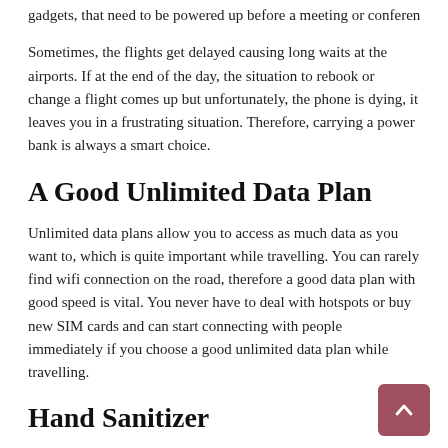gadgets, that need to be powered up before a meeting or conference.
Sometimes, the flights get delayed causing long waits at the airports. If at the end of the day, the situation to rebook or change a flight comes up but unfortunately, the phone is dying, it leaves you in a frustrating situation. Therefore, carrying a power bank is always a smart choice.
A Good Unlimited Data Plan
Unlimited data plans allow you to access as much data as you want to, which is quite important while travelling. You can rarely find wifi connection on the road, therefore a good data plan with good speed is vital. You never have to deal with hotspots or buy new SIM cards and can start connecting with people immediately if you choose a good unlimited data plan while travelling.
Hand Sanitizer